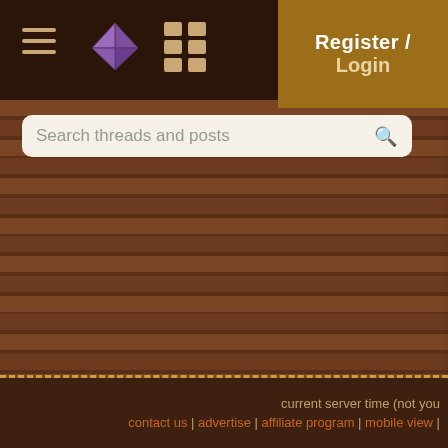Forum navigation header with hamburger menu, pie icon, grid icon, Register/Login button
Search threads and posts
Agrit... 2 replies
Sequim area - Sheep, D... cooperative ideas
2 replies
build it and they will co...
58 replies [→ 1, 2]
Cob Building in the Oz...
30 replies
current server time (not you... | contact us | advertise | affiliate program | mobile view |